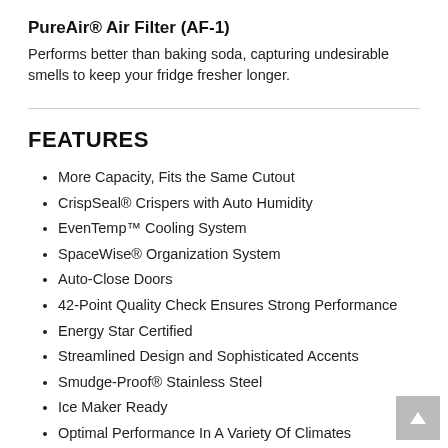PureAir® Air Filter (AF-1)
Performs better than baking soda, capturing undesirable smells to keep your fridge fresher longer.
FEATURES
More Capacity, Fits the Same Cutout
CrispSeal® Crispers with Auto Humidity
EvenTemp™ Cooling System
SpaceWise® Organization System
Auto-Close Doors
42-Point Quality Check Ensures Strong Performance
Energy Star Certified
Streamlined Design and Sophisticated Accents
Smudge-Proof® Stainless Steel
Ice Maker Ready
Optimal Performance In A Variety Of Climates
PureAir® Air Filter (AF-1)